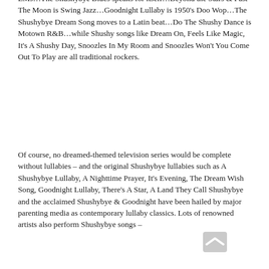EMs…The Shushybye Blues speaks for itself…Beyond the Stars & Past The Moon is Swing Jazz…Goodnight Lullaby is 1950's Doo Wop…The Shushybye Dream Song moves to a Latin beat…Do The Shushy Dance is Motown R&B…while Shushy songs like Dream On, Feels Like Magic, It's A Shushy Day, Snoozles In My Room and Snoozles Won't You Come Out To Play are all traditional rockers.
Of course, no dreamed-themed television series would be complete without lullabies – and the original Shushybye lullabies such as A Shushybye Lullaby, A Nighttime Prayer, It's Evening, The Dream Wish Song, Goodnight Lullaby, There's A Star, A Land They Call Shushybye and the acclaimed Shushybye & Goodnight have been hailed by major parenting media as contemporary lullaby classics. Lots of renowned artists also perform Shushybye songs –